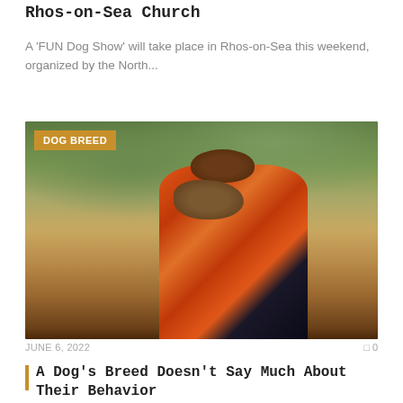Rhos-on-Sea Church
A 'FUN Dog Show' will take place in Rhos-on-Sea this weekend, organized by the North...
[Figure (photo): Older man in orange and navy plaid flannel shirt smiling while holding a small brown fluffy dog outdoors in a natural setting]
JUNE 6, 2022   0
A Dog's Breed Doesn't Say Much About Their Behavior